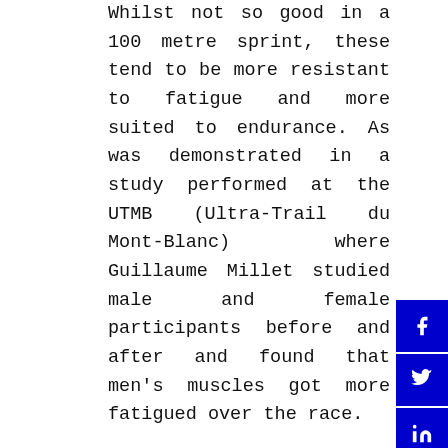Whilst not so good in a 100 metre sprint, these tend to be more resistant to fatigue and more suited to endurance. As was demonstrated in a study performed at the UTMB (Ultra-Trail du Mont-Blanc) where Guillaume Millet studied male and female participants before and after and found that men's muscles got more fatigued over the race.
Mental state
In ultra endurance sport, it is impossible for athletes to sustain their effort at max capacity throughout. Instead, peripheral